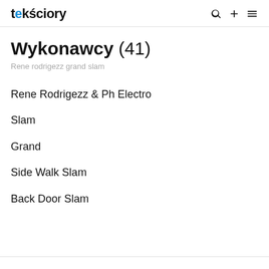tekściory
Wykonawcy (41)
Rene rodrigezz grand slam
Rene Rodrigezz & Ph Electro
Slam
Grand
Side Walk Slam
Back Door Slam